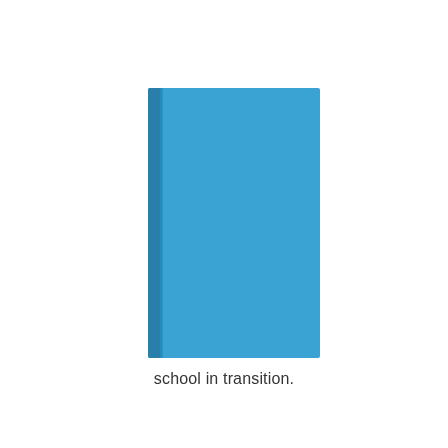[Figure (illustration): A plain hardcover book with a solid sky-blue cover and a narrow darker-blue spine strip on the left side, shown face-on against a white background.]
school in transition.